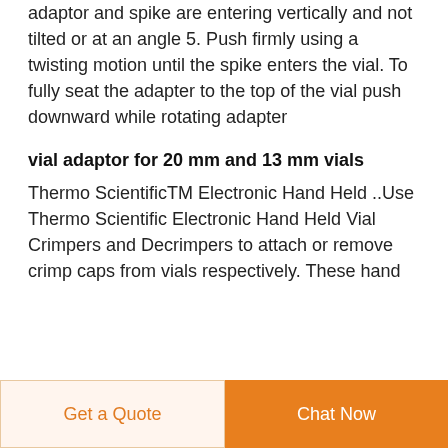adaptor and spike are entering vertically and not tilted or at an angle 5. Push firmly using a twisting motion until the spike enters the vial. To fully seat the adapter to the top of the vial push downward while rotating adapter
vial adaptor for 20 mm and 13 mm vials
Thermo ScientificTM Electronic Hand Held ..Use Thermo Scientific Electronic Hand Held Vial Crimpers and Decrimpers to attach or remove crimp caps from vials respectively. These hand